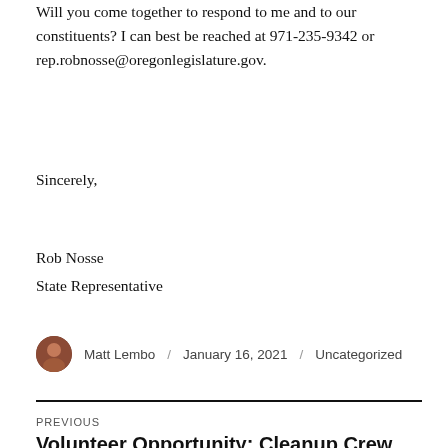Will you come together to respond to me and to our constituents? I can best be reached at 971-235-9342 or rep.robnosse@oregonlegislature.gov.
Sincerely,
Rob Nosse
State Representative
Matt Lembo / January 16, 2021 / Uncategorized
PREVIOUS
Volunteer Opportunity: Cleanup Crew